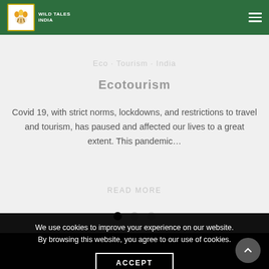WILD TALES INDIA
Ecotourism
Covid 19, with strict norms, lockdowns, and restrictions to travel and tourism, has paused and affected our lives to a great extent. This pandemic…
[Figure (other): Carousel navigation dots — one black active dot, two lighter inactive dots]
We use cookies to improve your experience on our website. By browsing this website, you agree to our use of cookies.
ACCEPT